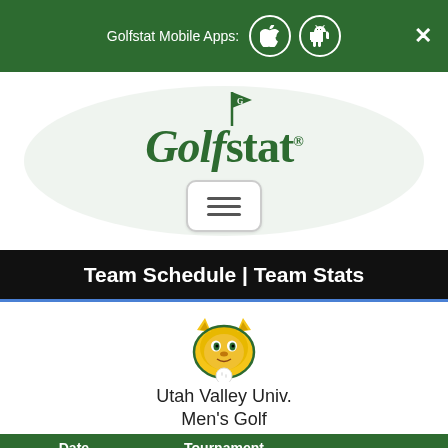Golfstat Mobile Apps: [Apple icon] [Android icon]
[Figure (logo): Golfstat logo with golf flag bearing 'G' above stylized old-English 'Golfstat' text, with hamburger menu button below]
Team Schedule | Team Stats
[Figure (logo): Utah Valley University wildcat mascot logo in green and gold]
Utah Valley Univ.
Men's Golf
| Date | Tournament | Finisher |
| --- | --- | --- |
| 2021-2022 | Opponent/Host |  |
| Sept. 10 - 12 | GMEI Individuals | Eisnher... |